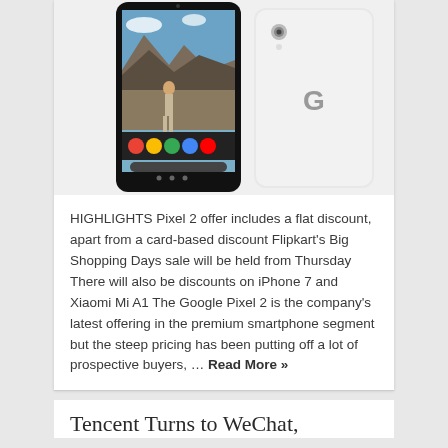[Figure (photo): Two Google Pixel 2 smartphones shown side by side — one displaying a scenic photo of a woman walking through rocky terrain on its screen, the other showing its white back with a Google 'G' logo.]
HIGHLIGHTS Pixel 2 offer includes a flat discount, apart from a card-based discount Flipkart's Big Shopping Days sale will be held from Thursday There will also be discounts on iPhone 7 and Xiaomi Mi A1 The Google Pixel 2 is the company's latest offering in the premium smartphone segment but the steep pricing has been putting off a lot of prospective buyers, … Read More »
Tencent Turns to WeChat,